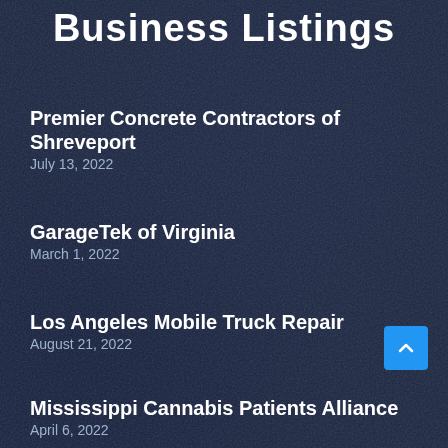Business Listings
Premier Concrete Contractors of Shreveport
July 13, 2022
GarageTek of Virginia
March 1, 2022
Los Angeles Mobile Truck Repair
August 21, 2022
Mississippi Cannabis Patients Alliance
April 6, 2022
Chandler's Tree Removal Team